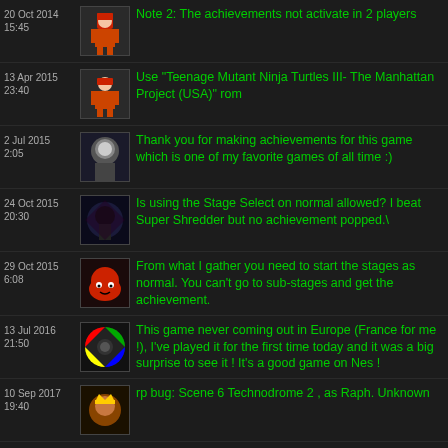20 Oct 2014 15:45 | Note 2: The achievements not activate in 2 players
13 Apr 2015 23:40 | Use "Teenage Mutant Ninja Turtles III- The Manhattan Project (USA)" rom
2 Jul 2015 2:05 | Thank you for making achievements for this game which is one of my favorite games of all time :)
24 Oct 2015 20:30 | Is using the Stage Select on normal allowed? I beat Super Shredder but no achievement popped.\
29 Oct 2015 6:08 | From what I gather you need to start the stages as normal. You can't go to sub-stages and get the achievement.
13 Jul 2016 21:50 | This game never coming out in Europe (France for me !), I've played it for the first time today and it was a big surprise to see it ! It's a good game on Nes !
10 Sep 2017 19:40 | rp bug: Scene 6 Technodrome 2 , as Raph. Unknown
26 Sep 2017 3:10 | Best turtle in this game is Don
1 Sep 2019 16:38 | I passed the leatherhead without dying twice and did not count the achievement. Why?
If you load a state at any point during game play